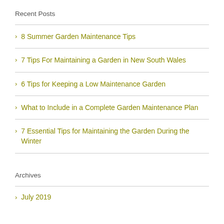Recent Posts
8 Summer Garden Maintenance Tips
7 Tips For Maintaining a Garden in New South Wales
6 Tips for Keeping a Low Maintenance Garden
What to Include in a Complete Garden Maintenance Plan
7 Essential Tips for Maintaining the Garden During the Winter
Archives
July 2019